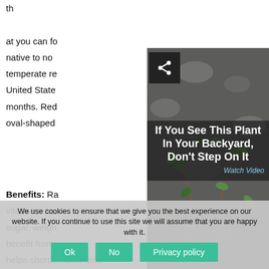th

at you can fo
native to no
temperate re
United State
months. Red
oval-shaped
Benefits: Ra
vitamins, an
sugar, weigh
benefit from
helps shorten labor time
How to use it: Yo
oatmeals. Yo
[Figure (photo): Close-up photo of a small green plant with oval leaves growing between dark gravel/stones, with a share button overlay in top-left corner]
If You See This Plant In Your Backyard, Don't Step On It
Watch Video
We use cookies to ensure that we give you the best experience on our website. If you continue to use this site we will assume that you are happy with it.